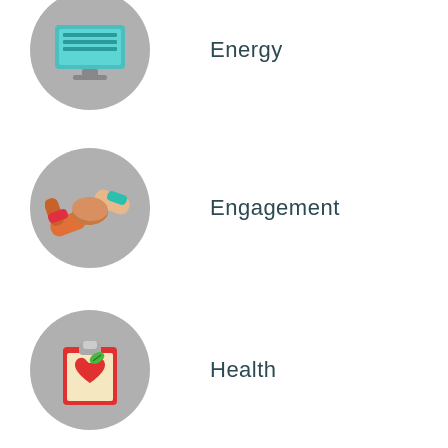[Figure (illustration): Gray circle with a computer monitor icon (teal/blue screen) shown partially at the top of the page]
Energy
[Figure (illustration): Gray circle with a handshake icon showing two hands of different skin tones clasping, with red and teal sleeves]
Engagement
[Figure (illustration): Gray circle with a clipboard icon featuring a red heart and green leaf on a yellow background]
Health